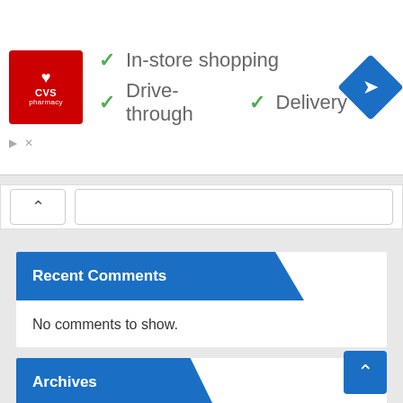[Figure (screenshot): CVS Pharmacy advertisement banner with checkmarks for In-store shopping, Drive-through, and Delivery services, plus a navigation direction diamond icon]
Recent Comments
No comments to show.
Archives
August 2022
July 2022